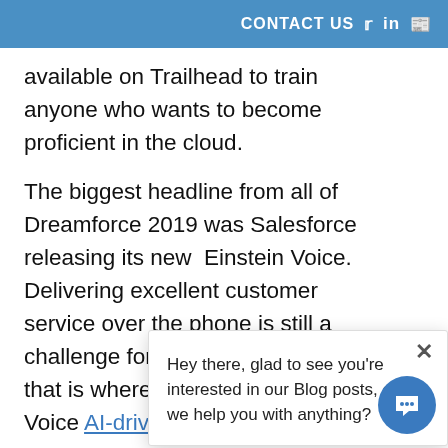CONTACT US
available on Trailhead to train anyone who wants to become proficient in the cloud.
The biggest headline from all of Dreamforce 2019 was Salesforce releasing its new Einstein Voice. Delivering excellent customer service over the phone is still a challenge for many companies, and that is where the new Service Cloud Voice [AI-driven insights] integrates c... productivity by closing cases faster with insights from Einstein. If your company is off business hours, let Einstein answer the phone for you to help quickly solve customer issues. Service Cloud Voice-enabled State Farm to provide a
Hey there, glad to see you're interested in our Blog posts, can we help you with anything?